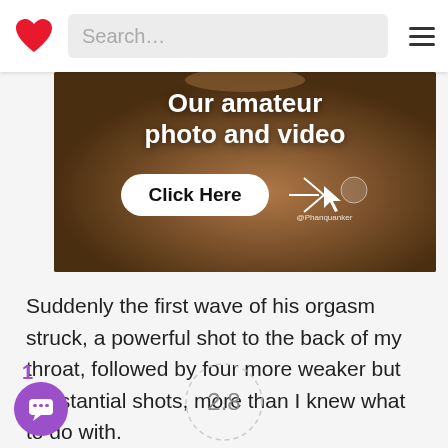Search...
[Figure (photo): Banner advertisement showing a figure with text 'Our amateur photo and video' and a 'Click Here' button with a cursor arrow graphic and a watermark logo.]
Suddenly the first wave of his orgasm struck, a powerful shot to the back of my throat, followed by four more weaker but substantial shots, more than I knew what to do with.
1
[Figure (other): Rating circle showing 2.8]